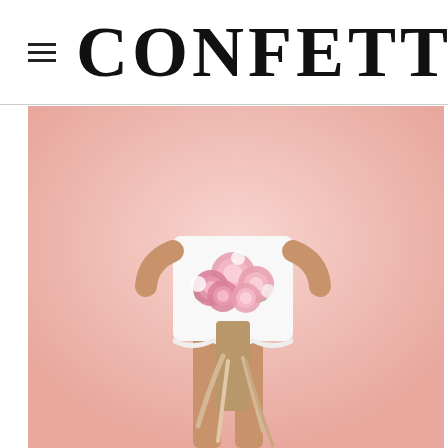CONFETTI
[Figure (photo): A bride in a short white dress holding a large pink peony bouquet with trailing ribbons, standing against a soft pink background. Only the torso and legs are visible.]